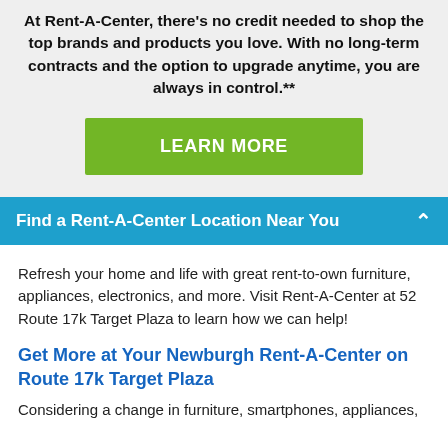At Rent-A-Center, there's no credit needed to shop the top brands and products you love. With no long-term contracts and the option to upgrade anytime, you are always in control.**
[Figure (other): Green LEARN MORE button]
Find a Rent-A-Center Location Near You
Refresh your home and life with great rent-to-own furniture, appliances, electronics, and more. Visit Rent-A-Center at 52 Route 17k Target Plaza to learn how we can help!
Get More at Your Newburgh Rent-A-Center on Route 17k Target Plaza
Considering a change in furniture, smartphones, appliances,